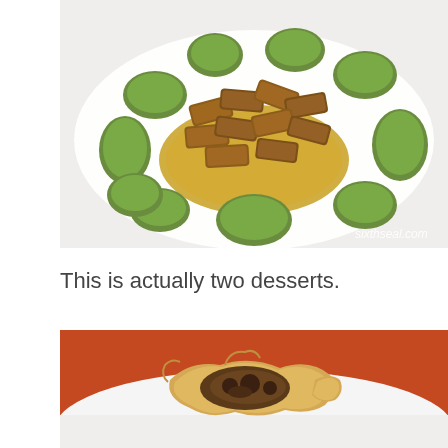[Figure (photo): Overhead view of a plate with fried spring rolls/egg rolls arranged in the center on a gold decorative base, surrounded by green pandan-flavored dumplings/mochi on a white plate. Watermark reads sixthseal.com in bottom right corner.]
This is actually two desserts.
[Figure (photo): Close-up photo of a broken/opened fried pastry/dumpling on a white plate showing the filling inside, with red and orange background visible.]